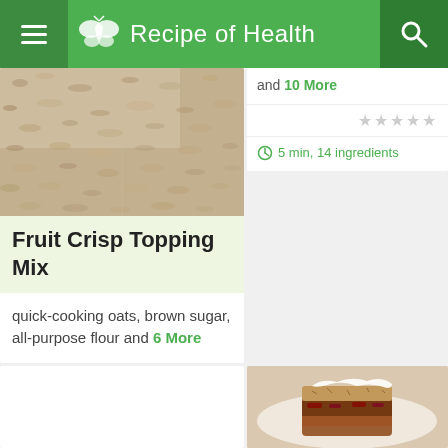Recipe of Health
[Figure (photo): Close-up photo of oat/grain texture for Fruit Crisp Topping Mix recipe]
Fruit Crisp Topping Mix
quick-cooking oats, brown sugar, all-purpose flour and 6 More
10 min, 9 ingredients
and 10 More
5 min, 14 ingredients
[Figure (photo): Bottom left recipe card placeholder (white)]
[Figure (photo): Bottom right photo showing a baked dessert item on a plate]